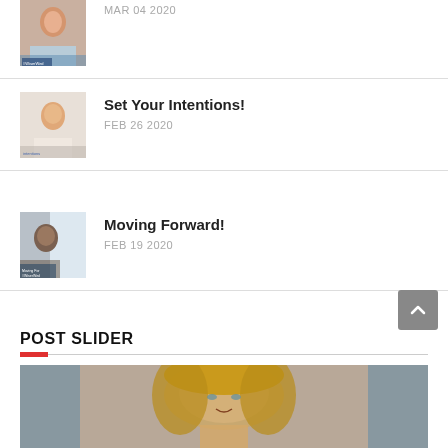MAR 04 2020
Set Your Intentions!
FEB 26 2020
Moving Forward!
FEB 19 2020
POST SLIDER
[Figure (photo): Portrait photo of a blonde woman facing forward, used in post slider section]
[Figure (photo): Thumbnail of a woman, first list item, partially cropped at top]
[Figure (photo): Thumbnail of a woman for Set Your Intentions post]
[Figure (photo): Thumbnail for Moving Forward post showing a woman with text overlay]